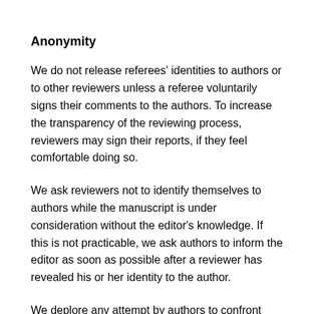Anonymity
We do not release referees' identities to authors or to other reviewers unless a referee voluntarily signs their comments to the authors. To increase the transparency of the reviewing process, reviewers may sign their reports, if they feel comfortable doing so.
We ask reviewers not to identify themselves to authors while the manuscript is under consideration without the editor's knowledge. If this is not practicable, we ask authors to inform the editor as soon as possible after a reviewer has revealed his or her identity to the author.
We deplore any attempt by authors to confront reviewer or determine their identities. Our own policy is to neither confirm nor deny any speculation about reviewers'